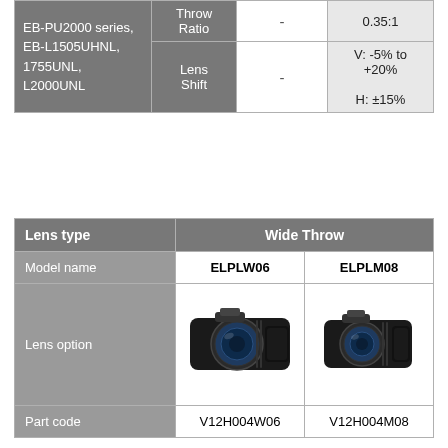|  | Lens type |  | value |
| --- | --- | --- | --- |
| EB-PU2000 series, EB-L1505UHNL, 1755UNL, L2000UNL | Throw Ratio | - | 0.35:1 |
| EB-PU2000 series, EB-L1505UHNL, 1755UNL, L2000UNL | Lens Shift | - | V: -5% to +20%
H: ±15% |
| Lens type | Wide Throw |  |
| --- | --- | --- |
| Model name | ELPLW06 | ELPLM08 |
| Lens option | [image] | [image] |
| Part code | V12H004W06 | V12H004M08 |